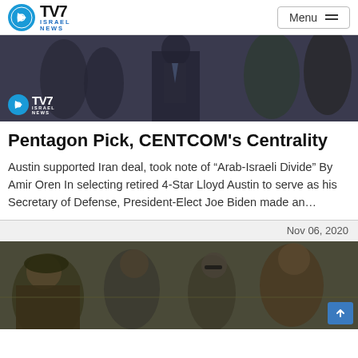TV7 ISRAEL NEWS | Menu
[Figure (photo): Hero image showing military figures with TV7 Israel News logo overlay]
Pentagon Pick, CENTCOM’s Centrality
Austin supported Iran deal, took note of “Arab-Israeli Divide” By Amir Oren In selecting retired 4-Star Lloyd Austin to serve as his Secretary of Defense, President-Elect Joe Biden made an…
Nov 06, 2020
[Figure (photo): Image of military/political figures outdoors with scroll-to-top button overlay]